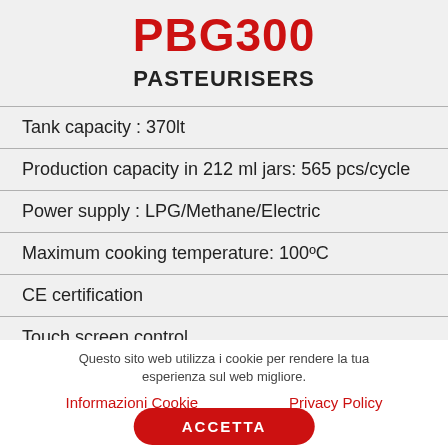PBG300
PASTEURISERS
Tank capacity : 370lt
Production capacity in 212 ml jars: 565 pcs/cycle
Power supply : LPG/Methane/Electric
Maximum cooking temperature: 100ºC
CE certification
Touch screen control
Questo sito web utilizza i cookie per rendere la tua esperienza sul web migliore.
Informazioni Cookie     Privacy Policy
ACCETTA